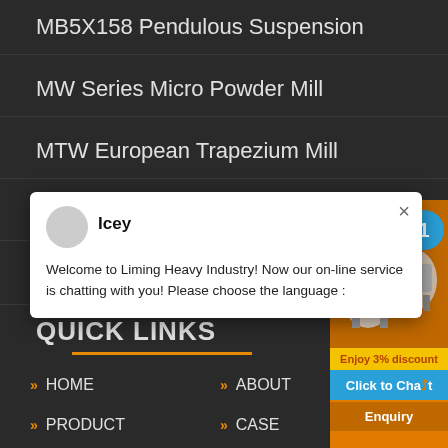MB5X158 Pendulous Suspension
MW Series Micro Powder Mill
MTW European Trapezium Mill
LUM Series Superfine Vertical R
TGM Super Pressure Trapezium Mi
QUICK LINKS
HOME
ABOUT
PRODUCT
CASE
[Figure (screenshot): Chat popup from Liming Heavy Industry with user 'Icey' and message: Welcome to Liming Heavy Industry! Now our on-line service is chatting with you! Please choose the language :]
[Figure (infographic): Orange promotional panel on right side showing industrial mill machines, blue badge with number 1, yellow 'Enjoy 3% discount' bar, blue 'Click to Chat' button, and 'Enquiry' bar]